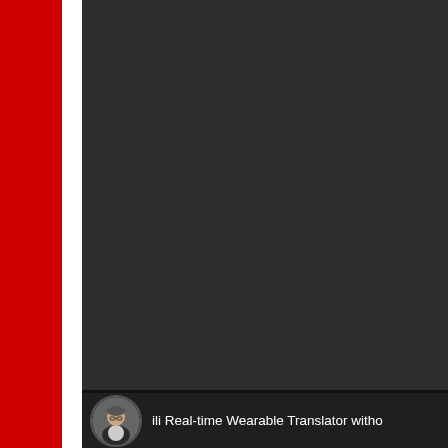[Figure (screenshot): YouTube video player screenshot showing a dark video area on the right portion of the page, a red sidebar on the left, and a video info bar at the bottom showing a circular avatar thumbnail of a presenter and partial video title 'ili Real-time Wearable Translator witho']